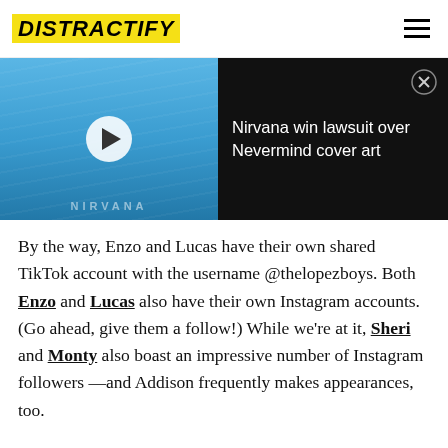DISTRACTIFY
[Figure (screenshot): Video thumbnail showing Nirvana Nevermind baby underwater image with play button overlay, alongside black panel with text 'Nirvana win lawsuit over Nevermind cover art' and close button]
By the way, Enzo and Lucas have their own shared TikTok account with the username @thelopezboys. Both Enzo and Lucas also have their own Instagram accounts. (Go ahead, give them a follow!) While we're at it, Sheri and Monty also boast an impressive number of Instagram followers —and Addison frequently makes appearances, too.